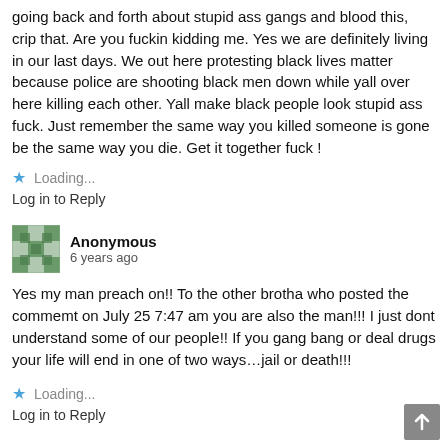going back and forth about stupid ass gangs and blood this, crip that. Are you fuckin kidding me. Yes we are definitely living in our last days. We out here protesting black lives matter because police are shooting black men down while yall over here killing each other. Yall make black people look stupid ass fuck. Just remember the same way you killed someone is gone be the same way you die. Get it together fuck !
Loading...
Log in to Reply
Anonymous
6 years ago
Yes my man preach on!! To the other brotha who posted the commemt on July 25 7:47 am you are also the man!!! I just dont understand some of our people!! If you gang bang or deal drugs your life will end in one of two ways…jail or death!!!
Loading...
Log in to Reply